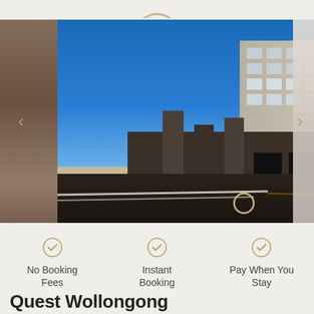[Figure (photo): Carousel image slider showing Quest hotel building exterior at dusk/evening with blue sky, modern multi-story building with Quest signage, street-level view with light trails, flanked by partial views of interior room images on left and right.]
No Booking Fees
Instant Booking
Pay When You Stay
Quest Wollongong